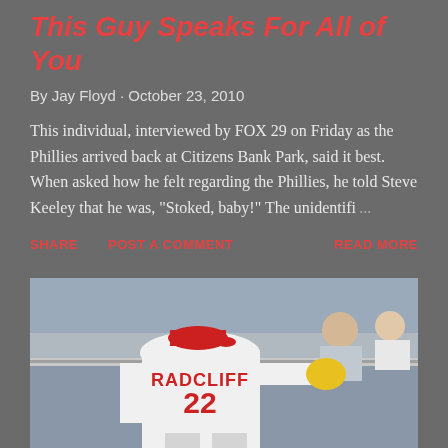This Guy Speaks For All of You
By Jay Floyd · October 23, 2010
This individual, interviewed by FOX 29 on Friday as the Phillies arrived back at Citizens Bank Park, said it best. When asked how he felt regarding the Phillies, he told Steve Keeley that he was, "Stoked, baby!" The unidentifi ...
SHARE   POST A COMMENT   READ MORE
[Figure (photo): Baseball player wearing white jersey with 'RADCLIFF 22' on the back and a red cap, standing near a dugout railing. A spectator in the background is visible seated.]